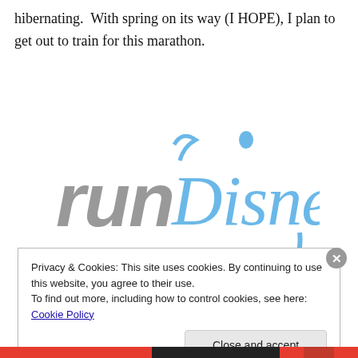hibernating.  With spring on its way (I HOPE), I plan to get out to train for this marathon.
[Figure (logo): runDisney logo: 'run' in gray italic lowercase letters and 'Disney' in blue Disney-style script font]
Privacy & Cookies: This site uses cookies. By continuing to use this website, you agree to their use.
To find out more, including how to control cookies, see here: Cookie Policy
[Close and accept button]